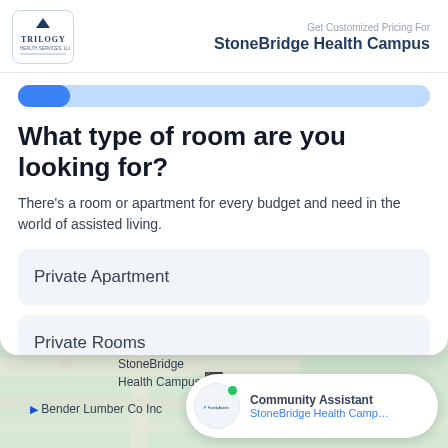Get Customized Pricing For StoneBridge Health Campus
What type of room are you looking for?
There's a room or apartment for every budget and need in the world of assisted living.
Private Apartment
Private Rooms
[Figure (screenshot): Map background showing Bedford area with StoneBridge Health Campus marker]
Community Assistant StoneBridge Health Campus